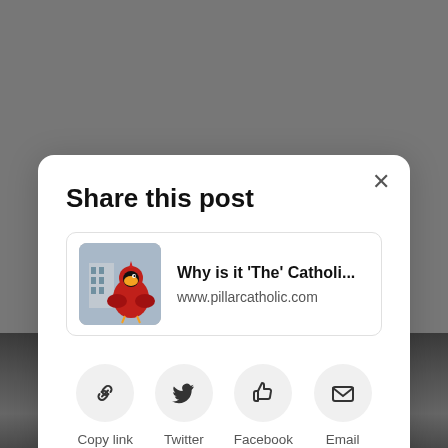advanced studies.
In his letter approving the project, Leo wrote that “the so... p... fa... co... fa...
[Figure (screenshot): Share this post modal dialog with link preview card showing 'Why is it ‘The’ Catholi...' from www.pillarcatholic.com, and four share buttons: Copy link, Twitter, Facebook, Email]
[Figure (photo): Black and white photograph of a large group of people]